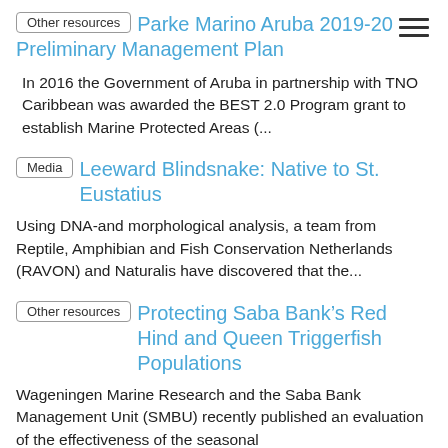Other resources | Parke Marino Aruba 2019-20 Preliminary Management Plan
In 2016 the Government of Aruba in partnership with TNO Caribbean was awarded the BEST 2.0 Program grant to establish Marine Protected Areas (...
Media | Leeward Blindsnake: Native to St. Eustatius
Using DNA-and morphological analysis, a team from Reptile, Amphibian and Fish Conservation Netherlands (RAVON) and Naturalis have discovered that the...
Other resources | Protecting Saba Bank’s Red Hind and Queen Triggerfish Populations
Wageningen Marine Research and the Saba Bank Management Unit (SMBU) recently published an evaluation of the effectiveness of the seasonal...